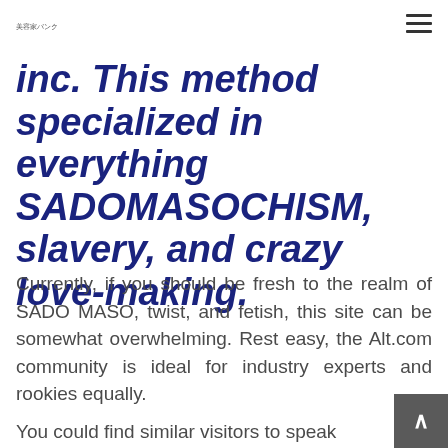美容家バンク
inc. This method specialized in everything SADOMASOCHISM, slavery, and crazy love-making.
Currently, if you should be fresh to the realm of SADO MASO, twist, and fetish, this site can be somewhat overwhelming. Rest easy, the Alt.com community is ideal for industry experts and rookies equally.
You could find similar visitors to speak